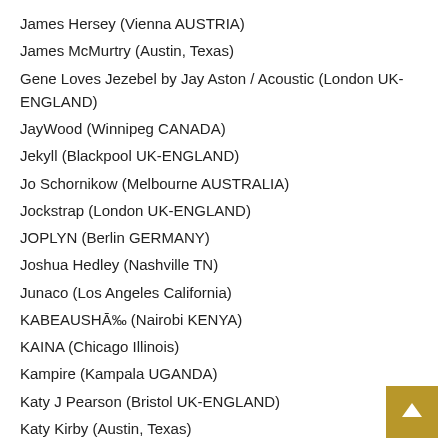James Hersey (Vienna AUSTRIA)
James McMurtry (Austin, Texas)
Gene Loves Jezebel by Jay Aston / Acoustic (London UK-ENGLAND)
JayWood (Winnipeg CANADA)
Jekyll (Blackpool UK-ENGLAND)
Jo Schornikow (Melbourne AUSTRALIA)
Jockstrap (London UK-ENGLAND)
JOPLYN (Berlin GERMANY)
Joshua Hedley (Nashville TN)
Junaco (Los Angeles California)
KABEAUSHĀ‰ (Nairobi KENYA)
KAINA (Chicago Illinois)
Kampire (Kampala UGANDA)
Katy J Pearson (Bristol UK-ENGLAND)
Katy Kirby (Austin, Texas)
KAWALA (London UK-ENGLAND)
Kevin Galloway (Austin, Texas)
Kiana V (Manila PHILIPPINES)